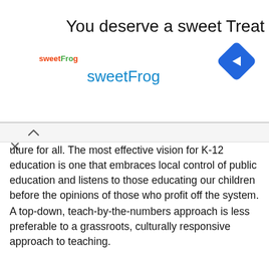[Figure (screenshot): Advertisement banner for sweetFrog frozen yogurt with logo, tagline 'You deserve a sweet Treat', and blue diamond navigation icon]
uture for all. The most effective vision for K-12 education is one that embraces local control of public education and listens to those educating our children before the opinions of those who profit off the system.
A top-down, teach-by-the-numbers approach is less preferable to a grassroots, culturally responsive approach to teaching. In fact, “teaching cannot be top-down because whoever is at the top is not in touch with the students being taught,” according to eminent author and professor of education, Catherine Cornbleth.
We must identify what we expect from our local schools, with the understanding that societal problems are often much larger than what any school or district can address. Just as issues are unique in each community, solutions may also be